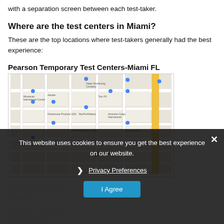with a separation screen between each test-taker.
Where are the test centers in Miami?
These are the top locations where test-takers generally had the best experience:
Pearson Temporary Test Centers-Miami FL
[Figure (map): Google Maps view showing Pearson Vue location at 7955 NW 12th Street, Doral, Florida 33126, with surrounding streets and businesses.]
This website uses cookies to ensure you get the best experience on our website.
Privacy Preferences
I Agree
7955 NW 12th Street
Suite 201
Doral, Florida 33126
United States